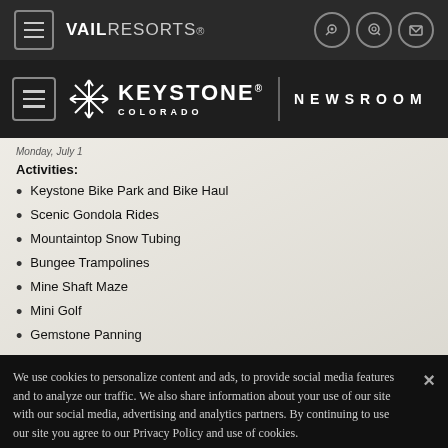VAIL RESORTS
KEYSTONE COLORADO | NEWSROOM
Monday, July 1
Activities:
Keystone Bike Park and Bike Haul
Scenic Gondola Rides
Mountaintop Snow Tubing
Bungee Trampolines
Mine Shaft Maze
Mini Golf
Gemstone Panning
We use cookies to personalize content and ads, to provide social media features and to analyze our traffic. We also share information about your use of our site with our social media, advertising and analytics partners. By continuing to use our site you agree to our Privacy Policy and use of cookies.
Privacy Policy